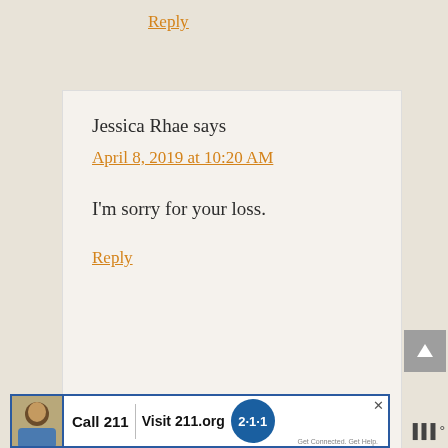Reply
Jessica Rhae says
April 8, 2019 at 10:20 AM
I'm sorry for your loss.
Reply
SHARON O Booker says
[Figure (other): Advertisement banner: Call 211 | Visit 211.org with 2-1-1 logo badge and a photo of a person]